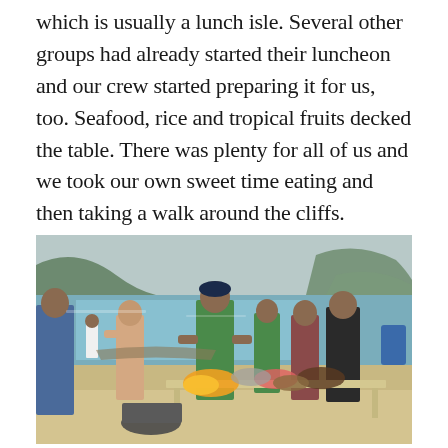which is usually a lunch isle. Several other groups had already started their luncheon and our crew started preparing it for us, too. Seafood, rice and tropical fruits decked the table. There was plenty for all of us and we took our own sweet time eating and then taking a walk around the cliffs.
[Figure (photo): A beach scene with a group of people standing around a table laden with seafood, rice, and tropical fruits including sliced mangoes. Several men in casual/swimwear are visible, with outrigger boats, turquoise water, and rocky cliffs in the background.]